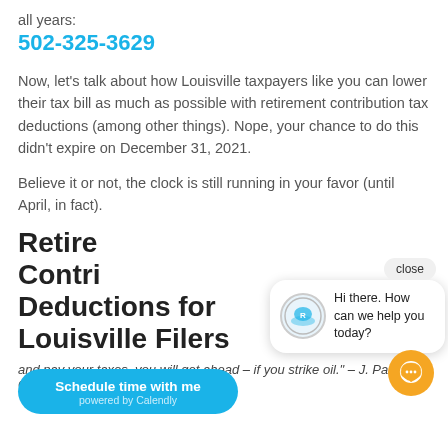all years:
502-325-3629
Now, let’s talk about how Louisville taxpayers like you can lower their tax bill as much as possible with retirement contribution tax deductions (among other things). Nope, your chance to do this didn’t expire on December 31, 2021.
Believe it or not, the clock is still running in your favor (until April, in fact).
Retirement Contribution Deductions for Louisville Filers
and pay your taxes, you will get ahead – if you strike oil." – J. Paul Getty